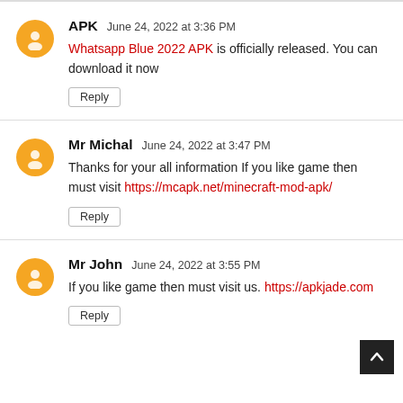APK   June 24, 2022 at 3:36 PM
Whatsapp Blue 2022 APK is officially released. You can download it now
Reply
Mr Michal   June 24, 2022 at 3:47 PM
Thanks for your all information If you like game then must visit https://mcapk.net/minecraft-mod-apk/
Reply
Mr John   June 24, 2022 at 3:55 PM
If you like game then must visit us. https://apkjade.com
Reply